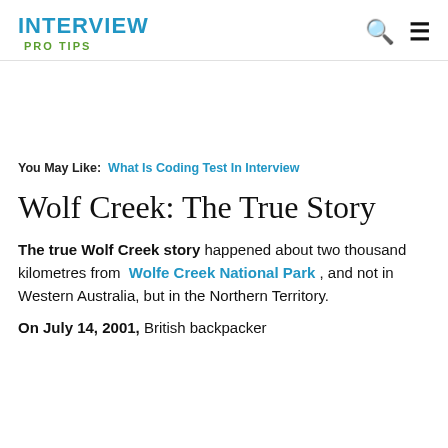INTERVIEW PRO TIPS
You May Like: What Is Coding Test In Interview
Wolf Creek: The True Story
The true Wolf Creek story happened about two thousand kilometres from Wolfe Creek National Park, and not in Western Australia, but in the Northern Territory.
On July 14, 2001, British backpacker Peter Falconio boarded...